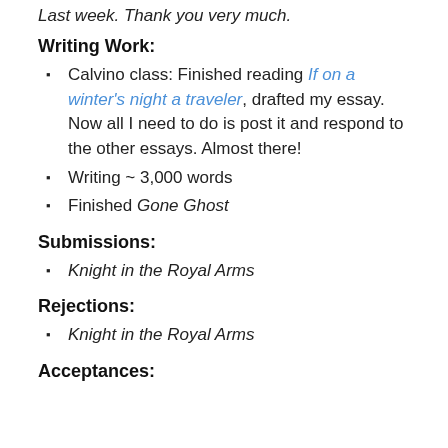Last week. Thank you very much.
Writing Work:
Calvino class: Finished reading If on a winter's night a traveler, drafted my essay. Now all I need to do is post it and respond to the other essays. Almost there!
Writing ~ 3,000 words
Finished Gone Ghost
Submissions:
Knight in the Royal Arms
Rejections:
Knight in the Royal Arms
Acceptances: